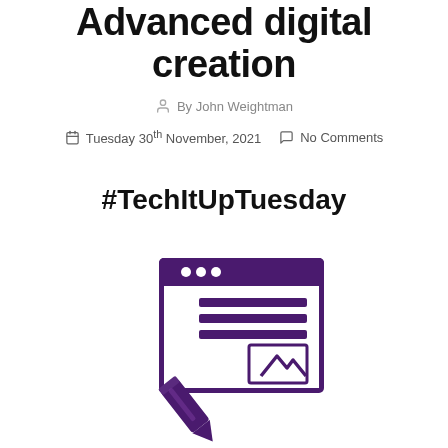Advanced digital creation
By John Weightman
Tuesday 30th November, 2021   No Comments
#TechItUpTuesday
[Figure (illustration): Purple icon of a browser/content editor window with a pencil writing on it, featuring text lines and an image placeholder inside the window]